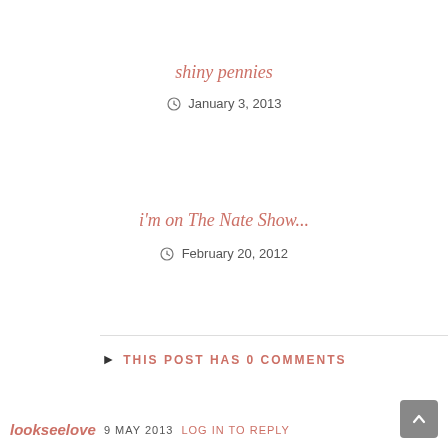shiny pennies
January 3, 2013
i'm on The Nate Show...
February 20, 2012
THIS POST HAS 0 COMMENTS
lookseelove 9 MAY 2013 LOG IN TO REPLY